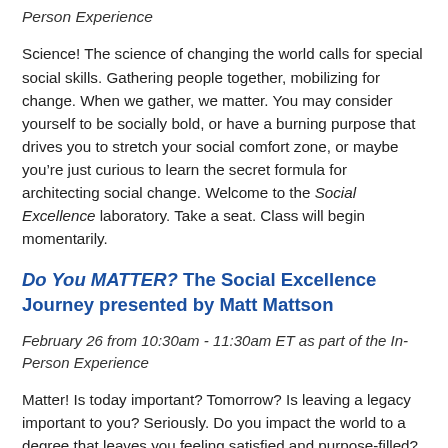Person Experience
Science! The science of changing the world calls for special social skills. Gathering people together, mobilizing for change. When we gather, we matter. You may consider yourself to be socially bold, or have a burning purpose that drives you to stretch your social comfort zone, or maybe you’re just curious to learn the secret formula for architecting social change. Welcome to the Social Excellence laboratory. Take a seat. Class will begin momentarily.
Do You MATTER? The Social Excellence Journey presented by Matt Mattson
February 26 from 10:30am - 11:30am ET as part of the In-Person Experience
Matter! Is today important? Tomorrow? Is leaving a legacy important to you? Seriously. Do you impact the world to a degree that leaves you feeling satisfied and purpose-filled? Is